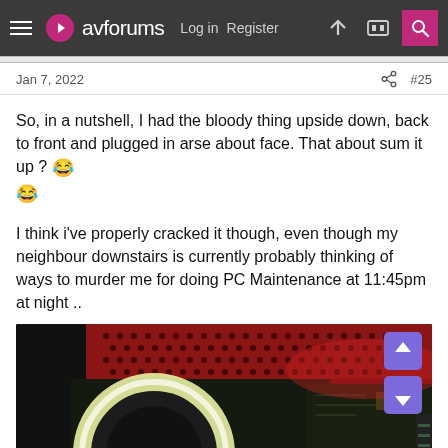avforums  Log in  Register  #25
Jan 7, 2022  #25
So, in a nutshell, I had the bloody thing upside down, back to front and plugged in arse about face. That about sum it up ? 😂😂
I think i've properly cracked it though, even though my neighbour downstairs is currently probably thinking of ways to murder me for doing PC Maintenance at 11:45pm at night ..
[Figure (photo): Photo of a PC interior showing a circular RGB fan with glowing green/white ring light, red case with perforated top panel, green lighting inside the case, visible motherboard components and GPU.]